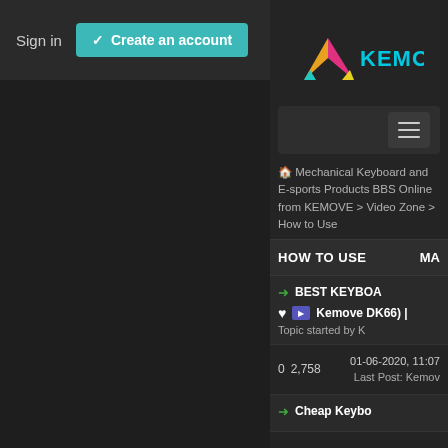Sign in
✓ Create an account
[Figure (logo): KEMOVE logo with colorful triangle/arrow graphic and KEMOVE text in cyan/blue/yellow gradient]
[Figure (screenshot): Hamburger menu button (three horizontal lines) on dark background]
🏠 Mechanical Keyboard and E-sports Products BBS Online from KEMOVE > Video Zone > How to Use
HOW TO USE  MA
➡ BEST KEYBOA Kemove DK66) | Topic started by K
0  2,758  01-06-2020, 11:07 Last Post: Kemov
➡ Cheap Keybo